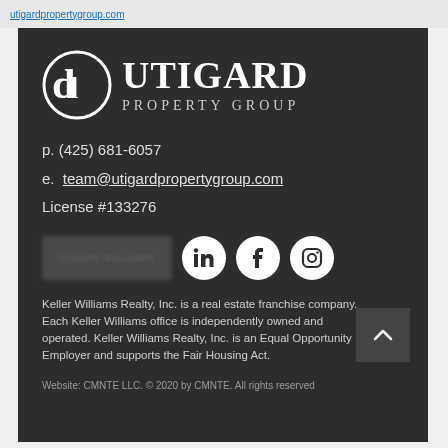[Figure (logo): Utigard Property Group logo with circular icon and serif text]
p. (425) 681-6057
e. team@utigardpropertygroup.com
License #133276
[Figure (logo): Keller Williams branded logo (blurred) and social media icons for LinkedIn, Facebook, Instagram]
Keller Williams Realty, Inc. is a real estate franchise company. Each Keller Williams office is independently owned and operated. Keller Williams Realty, Inc. is an Equal Opportunity Employer and supports the Fair Housing Act.
Website: CMNTE LLC. © 2020 by CMNTE. All rights reserved